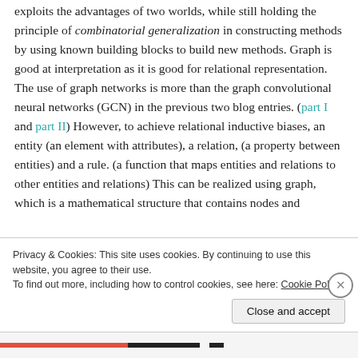exploits the advantages of two worlds, while still holding the principle of combinatorial generalization in constructing methods by using known building blocks to build new methods. Graph is good at interpretation as it is good for relational representation.
The use of graph networks is more than the graph convolutional neural networks (GCN) in the previous two blog entries. (part I and part II) However, to achieve relational inductive biases, an entity (an element with attributes), a relation, (a property between entities) and a rule. (a function that maps entities and relations to other entities and relations) This can be realized using graph, which is a mathematical structure that contains nodes and
Privacy & Cookies: This site uses cookies. By continuing to use this website, you agree to their use.
To find out more, including how to control cookies, see here: Cookie Policy